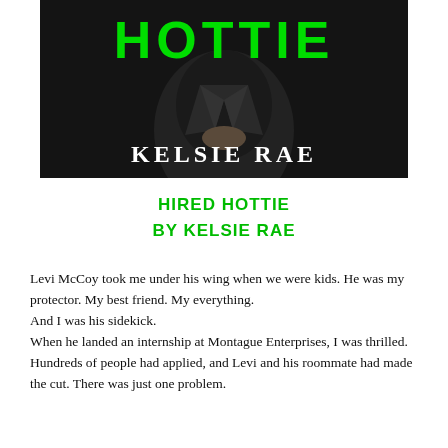[Figure (illustration): Book cover for 'Hired Hottie' by Kelsie Rae. Dark background with a person in a leather jacket. Large green text 'HOTTIE' at top, white serif text 'KELSIE RAE' at bottom.]
HIRED HOTTIE
BY KELSIE RAE
Levi McCoy took me under his wing when we were kids. He was my protector. My best friend. My everything.
And I was his sidekick.
When he landed an internship at Montague Enterprises, I was thrilled. Hundreds of people had applied, and Levi and his roommate had made the cut. There was just one problem.